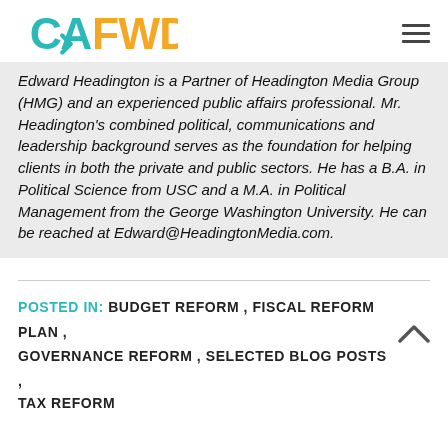CA FWD
Edward Headington is a Partner of Headington Media Group (HMG) and an experienced public affairs professional. Mr. Headington's combined political, communications and leadership background serves as the foundation for helping clients in both the private and public sectors. He has a B.A. in Political Science from USC and a M.A. in Political Management from the George Washington University. He can be reached at Edward@HeadingtonMedia.com.
POSTED IN: BUDGET REFORM , FISCAL REFORM PLAN , GOVERNANCE REFORM , SELECTED BLOG POSTS , TAX REFORM